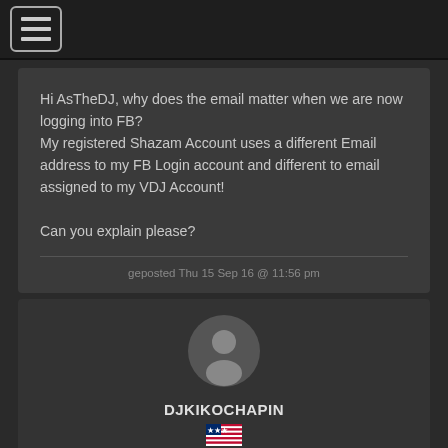[Figure (screenshot): Navigation menu button with three horizontal lines (hamburger icon) in top left corner]
Hi AsTheDJ, why does the email matter when we are now logging into FB?
My registered Shazam Account uses a different Email address to my FB Login account and different to email assigned to my VDJ Account!

Can you explain please?
geposted Thu 15 Sep 16 @ 11:56 pm
[Figure (illustration): Generic user avatar icon - silhouette of a person in a circle]
DJKIKOCHAPIN
[Figure (illustration): US flag icon]
[Figure (illustration): Three star rating icons]